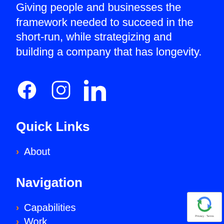Giving people and businesses the framework needed to succeed in the short-run, while strategizing and building a company that has longevity.
[Figure (infographic): Three social media icons: Facebook (circle with f), Instagram (square with circle), LinkedIn (square with 'in')]
Quick Links
About
Navigation
Capabilities
Work
[Figure (logo): reCAPTCHA badge with recycle-like arrows logo and 'Privacy - Terms' text]